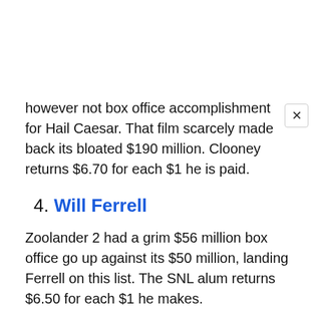however not box office accomplishment for Hail Caesar. That film scarcely made back its bloated $190 million. Clooney returns $6.70 for each $1 he is paid.
4. Will Ferrell
Zoolander 2 had a grim $56 million box office go up against its $50 million, landing Ferrell on this list. The SNL alum returns $6.50 for each $1 he makes.
3. Channing Tatum
Magic Mike XXL did well in the film industry, yet Channing Tatum is still finding the importance of the